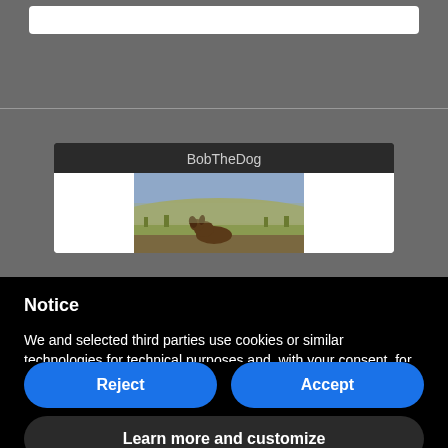[Figure (screenshot): Top grey browser/app bar area with a white search input field]
[Figure (screenshot): Profile card showing username BobTheDog with a landscape photo of a dog on a hilltop vista]
Notice
We and selected third parties use cookies or similar technologies for technical purposes and, with your consent, for other purposes as specified in the cookie policy. Denying consent may make related features unavailable.
Reject
Accept
Learn more and customize